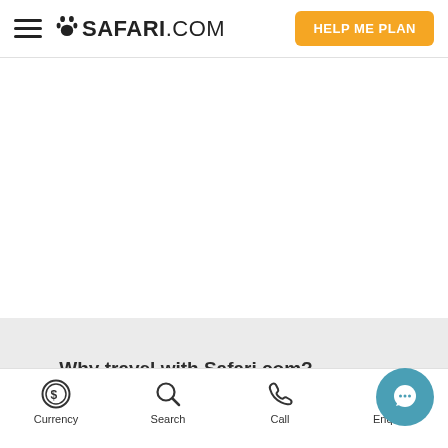SAFARI.COM — HELP ME PLAN
Why travel with Safari.com?
Currency | Search | Call | Enquire